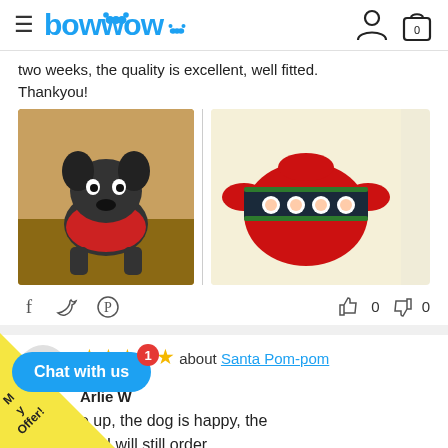bowwow
two weeks, the quality is excellent, well fitted. Thankyou!
[Figure (photo): French bulldog wearing a red Christmas sweater standing on a wooden floor]
[Figure (photo): Red pet sweater with Santa Claus pattern laid flat on light background]
👍 0  👎 0
★★★★★ about Santa Pom-pom Sweater
Arlie W
e up, the dog is happy, the  , I will still order
[Figure (photo): Dark gray fabric thumbnail]
[Figure (photo): Red sweater thumbnail]